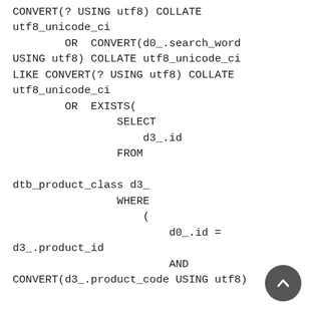CONVERT(? USING utf8) COLLATE utf8_unicode_ci
        OR  CONVERT(d0_.search_word USING utf8) COLLATE utf8_unicode_ci LIKE CONVERT(? USING utf8) COLLATE utf8_unicode_ci
        OR  EXISTS(
                SELECT
                    d3_.id
                FROM

dtb_product_class d3_
                WHERE
                    (
                        d0_.id =
d3_.product_id
                        AND
CONVERT(d3_.product_code USING utf8)